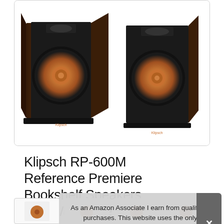[Figure (photo): Two Klipsch RP-600M bookshelf speakers in walnut finish with copper woofers, shown side by side in a white card with rounded border]
Klipsch RP-600M Reference Premiere Bookshelf Speakers, Pair Walnut Re
As an Amazon Associate I earn from qualifying purchases. This website uses the only necessary cookies to ensure you get the best experience on our website. More information
#ad
[Figure (photo): Row of small speaker thumbnail images at the bottom of the page]